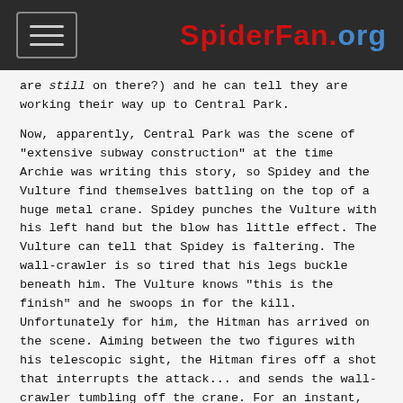SpiderFan.org
are still on there?) and he can tell they are working their way up to Central Park.
Now, apparently, Central Park was the scene of "extensive subway construction" at the time Archie was writing this story, so Spidey and the Vulture find themselves battling on the top of a huge metal crane. Spidey punches the Vulture with his left hand but the blow has little effect. The Vulture can tell that Spidey is faltering. The wall-crawler is so tired that his legs buckle beneath him. The Vulture knows "this is the finish" and he swoops in for the kill. Unfortunately for him, the Hitman has arrived on the scene. Aiming between the two figures with his telescopic sight, the Hitman fires off a shot that interrupts the attack... and sends the wall-crawler tumbling off the crane. For an instant, the Hitman wonders if he has blown it. He only wanted to spoil the Vulture's attack, not to end it all yet. But